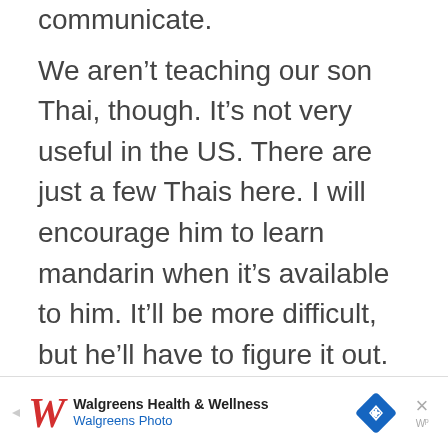communicate.
We aren't teaching our son Thai, though. It's not very useful in the US. There are just a few Thais here. I will encourage him to learn mandarin when it's available to him. It'll be more difficult, but he'll have to figure it out.
We do have a public bilingual school with a Mandarin track, but it's really difficult to get in. We
[Figure (other): Walgreens Health & Wellness advertisement banner with Walgreens cursive W logo, Walgreens Photo text, a blue diamond navigation icon, and a close X button with WP watermark]